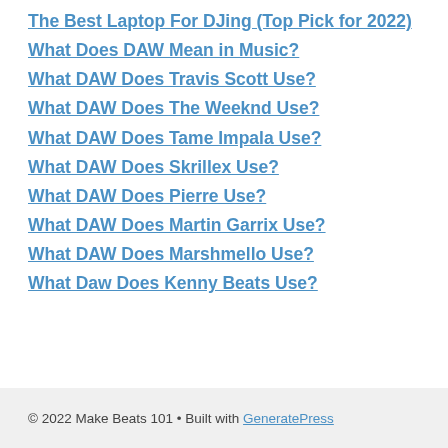The Best Laptop For DJing (Top Pick for 2022)
What Does DAW Mean in Music?
What DAW Does Travis Scott Use?
What DAW Does The Weeknd Use?
What DAW Does Tame Impala Use?
What DAW Does Skrillex Use?
What DAW Does Pierre Use?
What DAW Does Martin Garrix Use?
What DAW Does Marshmello Use?
What Daw Does Kenny Beats Use?
© 2022 Make Beats 101 • Built with GeneratePress